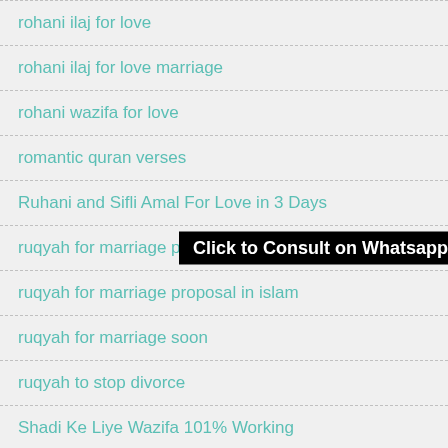rohani ilaj for love
rohani ilaj for love marriage
rohani wazifa for love
romantic quran verses
Ruhani and Sifli Amal For Love in 3 Days
ruqyah for marriage pdf
ruqyah for marriage proposal in islam
ruqyah for marriage soon
ruqyah to stop divorce
Shadi Ke Liye Wazifa 101% Working